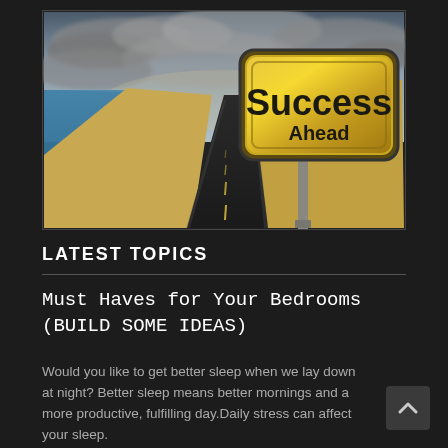[Figure (illustration): A road stretching into the distance flanked by desert sand and blue ocean under a dramatic cloudy sky. A large gold/yellow road sign on a post reads 'Success Ahead' in bold black text.]
LATEST TOPICS
Must Haves for Your Bedrooms (BUILD SOME IDEAS)
Would you like to get better sleep when we lay down at night? Better sleep means better mornings and a more productive, fulfilling day.Daily stress can affect your sleep. ... read more